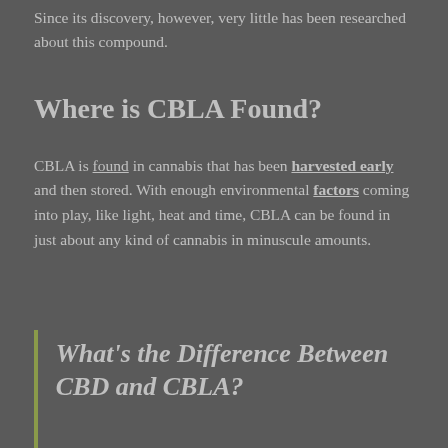Since its discovery, however, very little has been researched about this compound.
Where is CBLA Found?
CBLA is found in cannabis that has been harvested early and then stored. With enough environmental factors coming into play, like light, heat and time, CBLA can be found in just about any kind of cannabis in minuscule amounts.
What's the Difference Between CBD and CBLA?